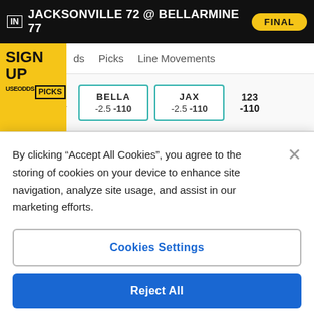IN JACKSONVILLE 72 @ BELLARMINE 77   FINAL
SIGN UP  USEODDS PICKS
ds   Picks   Line Movements
| Date | BELLA | JAX | Total |
| --- | --- | --- | --- |
| Tue Mar 8, 12:03 AM ET | BELLA -2.5 -110 | JAX -2.5 -110 | 123 -110 |
By clicking “Accept All Cookies”, you agree to the storing of cookies on your device to enhance site navigation, analyze site usage, and assist in our marketing efforts.
Cookies Settings
Reject All
Accept All Cookies